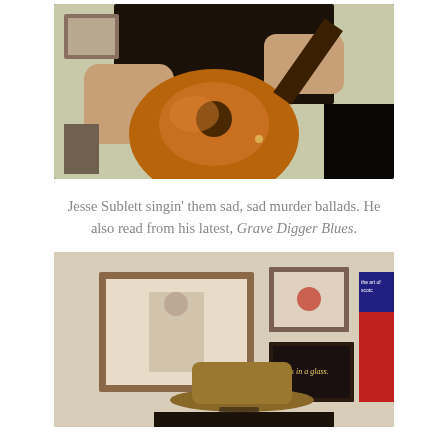[Figure (photo): Person in black shirt playing an acoustic guitar indoors, close-up shot showing torso and hands, guitar is warm orange-brown, background shows framed picture on wall]
Jesse Sublett singin’ them sad, sad murder ballads. He also read from his latest, Grave Digger Blues.
[Figure (photo): Person wearing a tan/brown wide-brim hat sitting indoors, framed artwork on wall behind including a large portrait and smaller frames, one frame reads 'Texas in a glass', colorful poster on right edge]